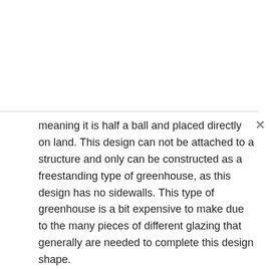meaning it is half a ball and placed directly on land. This design can not be attached to a structure and only can be constructed as a freestanding type of greenhouse, as this design has no sidewalls. This type of greenhouse is a bit expensive to make due to the many pieces of different glazing that generally are needed to complete this design shape.
5. Gothic style greenhouse. This design type has a very historical gothic appearance. The walls and roof are formed in such a manner as to create a continuous form, allowing snow to fall down easily. This design type can be either attached or freestanding, however it is usually not recommended attached except when your home's design